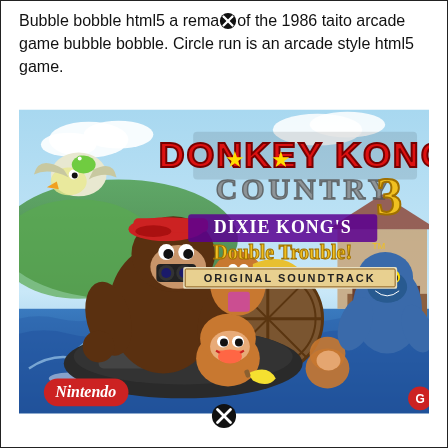Bubble bobble html5 a remake [X] of the 1986 taito arcade game bubble bobble. Circle run is an arcade style html5 game.
[Figure (illustration): Donkey Kong Country 3: Dixie Kong's Double Trouble! Original Soundtrack album cover art, showing Donkey Kong and friends on a watercraft with Nintendo branding at the bottom.]